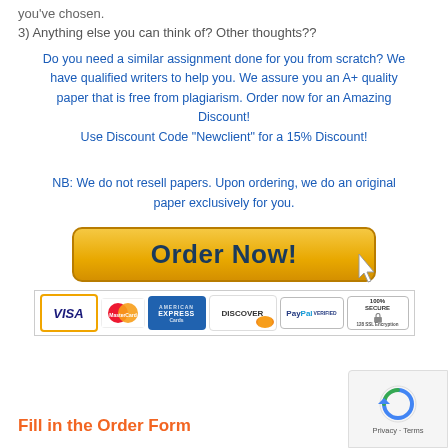you've chosen.
3) Anything else you can think of? Other thoughts??
Do you need a similar assignment done for you from scratch? We have qualified writers to help you. We assure you an A+ quality paper that is free from plagiarism. Order now for an Amazing Discount! Use Discount Code "Newclient" for a 15% Discount!
NB: We do not resell papers. Upon ordering, we do an original paper exclusively for you.
[Figure (other): Orange 'Order Now!' button with cursor arrow, followed by payment method icons: VISA, MasterCard, American Express, DISCOVER, PayPal, 100% SECURE 128 SSL Encryption]
Fill in the Order Form